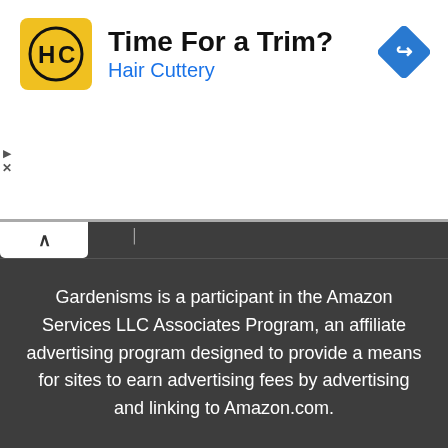[Figure (screenshot): Hair Cuttery advertisement banner with yellow logo, bold title 'Time For a Trim?', subtitle 'Hair Cuttery' in blue, and a blue diamond navigation arrow icon on the right. Play and close (X) controls visible on the left edge.]
[Figure (screenshot): Dark gray browser UI section showing a collapsed/hidden content area with a white chevron-up collapse button on the left and a text cursor visible.]
Gardenisms is a participant in the Amazon Services LLC Associates Program, an affiliate advertising program designed to provide a means for sites to earn advertising fees by advertising and linking to Amazon.com.